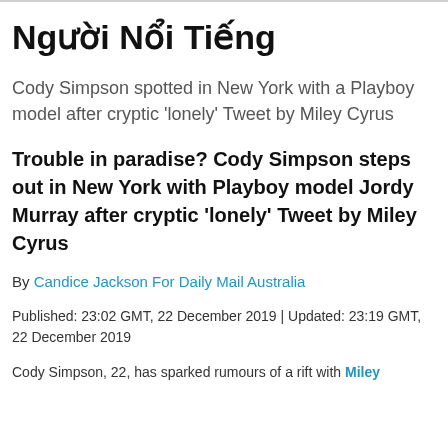Người Nổi Tiếng
Cody Simpson spotted in New York with a Playboy model after cryptic 'lonely' Tweet by Miley Cyrus
Trouble in paradise? Cody Simpson steps out in New York with Playboy model Jordy Murray after cryptic 'lonely' Tweet by Miley Cyrus
By Candice Jackson For Daily Mail Australia
Published: 23:02 GMT, 22 December 2019 | Updated: 23:19 GMT, 22 December 2019
Cody Simpson, 22, has sparked rumours of a rift with Miley…